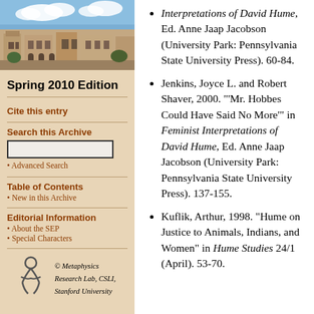[Figure (photo): Photograph of a sandstone university building with blue sky and clouds]
Spring 2010 Edition
Cite this entry
Search this Archive
Advanced Search
Table of Contents
New in this Archive
Editorial Information
About the SEP
Special Characters
[Figure (logo): Metaphysics Research Lab logo — stylized figure symbol]
© Metaphysics Research Lab, CSLI, Stanford University
Interpretations of David Hume, Ed. Anne Jaap Jacobson (University Park: Pennsylvania State University Press). 60-84.
Jenkins, Joyce L. and Robert Shaver, 2000. "'Mr. Hobbes Could Have Said No More'" in Feminist Interpretations of David Hume, Ed. Anne Jaap Jacobson (University Park: Pennsylvania State University Press). 137-155.
Kuflik, Arthur, 1998. "Hume on Justice to Animals, Indians, and Women" in Hume Studies 24/1 (April). 53-70.